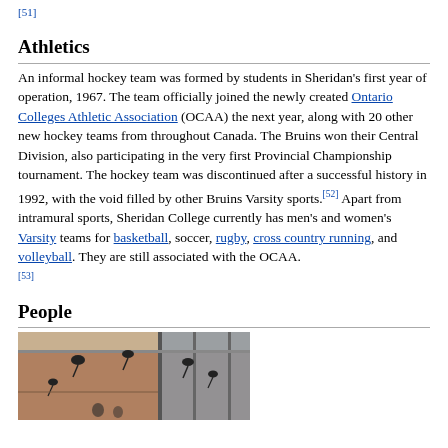[51]
Athletics
An informal hockey team was formed by students in Sheridan's first year of operation, 1967. The team officially joined the newly created Ontario Colleges Athletic Association (OCAA) the next year, along with 20 other new hockey teams from throughout Canada. The Bruins won their Central Division, also participating in the very first Provincial Championship tournament. The hockey team was discontinued after a successful history in 1992, with the void filled by other Bruins Varsity sports.[52] Apart from intramural sports, Sheridan College currently has men's and women's Varsity teams for basketball, soccer, rugby, cross country running, and volleyball. They are still associated with the OCAA.[53]
People
[Figure (photo): Photo of a building interior or exterior with people and equipment visible, appears to be an atrium or lobby area.]